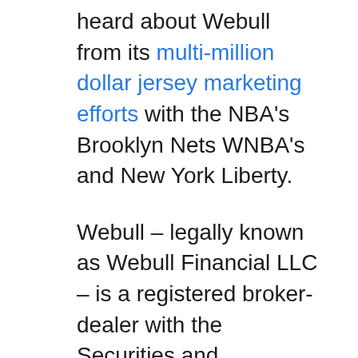heard about Webull from its multi-million dollar jersey marketing efforts with the NBA's Brooklyn Nets WNBA's and New York Liberty.
Webull – legally known as Webull Financial LLC – is a registered broker-dealer with the Securities and Exchange Commission (SEC). The company is also a member of the Financial Industry Regulatory Authority (FINRA), Securities Investor Protection Corporation (SIPC), The New York Stock Exchange (NYSE), NASDAQ, and Cboe EDGX Exchange, Inc (CBOE EDGX). Webull uses the clearing